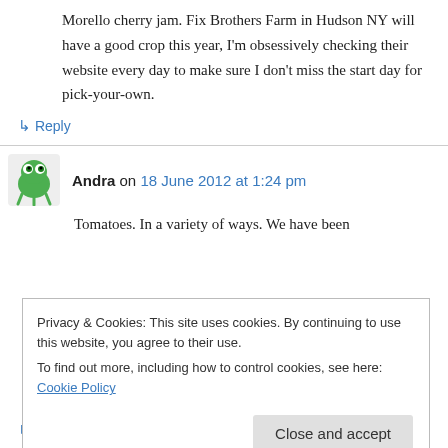Morello cherry jam. Fix Brothers Farm in Hudson NY will have a good crop this year, I'm obsessively checking their website every day to make sure I don't miss the start day for pick-your-own.
↳ Reply
Andra on 18 June 2012 at 1:24 pm
Tomatoes. In a variety of ways. We have been
Privacy & Cookies: This site uses cookies. By continuing to use this website, you agree to their use.
To find out more, including how to control cookies, see here: Cookie Policy
Close and accept
↳ Reply